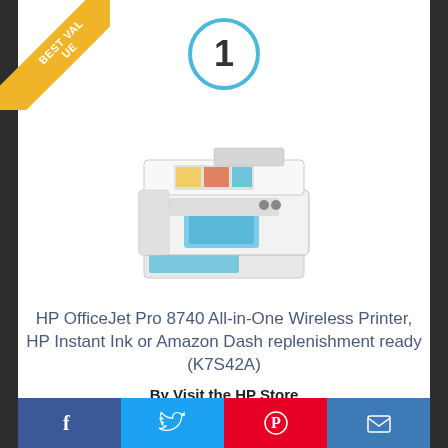[Figure (illustration): Gold 'BEST VALUE' diagonal ribbon banner in the top-left corner]
[Figure (illustration): Blue circle with the number 1 inside, centered at top]
[Figure (photo): HP OfficeJet Pro 8740 All-in-One Wireless Printer product photo]
HP OfficeJet Pro 8740 All-in-One Wireless Printer, HP Instant Ink or Amazon Dash replenishment ready (K7S42A)
By Visit the HP Store
View Product
[Figure (infographic): Social sharing bar at the bottom with Facebook, Twitter, Pinterest, and Email icons]